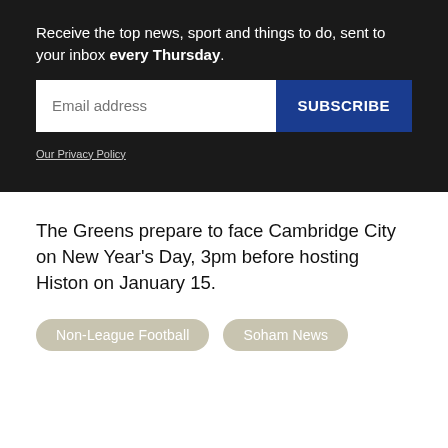Receive the top news, sport and things to do, sent to your inbox every Thursday.
[Figure (other): Email subscription form with email address input field and blue SUBSCRIBE button]
Our Privacy Policy
The Greens prepare to face Cambridge City on New Year's Day, 3pm before hosting Histon on January 15.
Non-League Football
Soham News